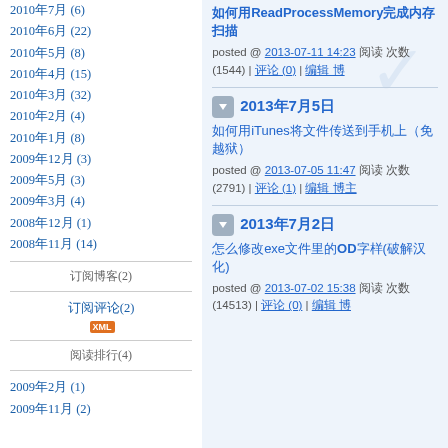2010年7月 (6)
2010年6月 (22)
2010年5月 (8)
2010年4月 (15)
2010年3月 (32)
2010年2月 (4)
2010年1月 (8)
2009年12月 (3)
2009年5月 (3)
2009年3月 (4)
2008年12月 (1)
2008年11月 (14)
订阅博客(2)
订阅评论(2) XML
阅读排行(4)
2009年2月 (1)
2009年11月 (2)
2013年7月5日
如何用iTunes将文件传送到手机上（免越狱）
posted @ 2013-07-05 11:47 阅读 次数(2791) | 评论 (1) | 编辑 博主
2013年7月2日
怎么修改exe文件里的OD字样(破解汉化)
posted @ 2013-07-02 15:38 阅读 次数(14513) | 评论 (0) | 编辑 博主